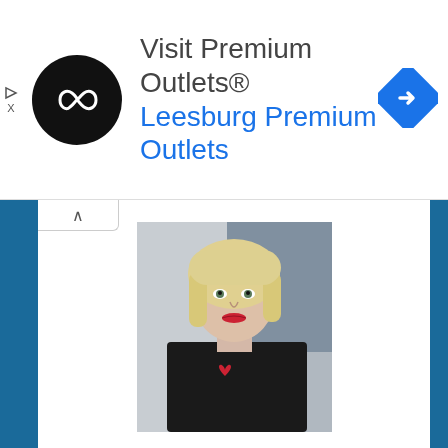[Figure (infographic): Advertisement banner for Visit Premium Outlets® featuring a black circular logo with infinity-like symbol, the text 'Visit Premium Outlets®' in gray and 'Leesburg Premium Outlets' in blue, and a blue diamond navigation arrow icon on the right. Small play and X icons on the far left.]
[Figure (photo): Profile photo of Judie Lipsett Stanford, a woman with short blonde hair wearing a black top with a small red heart, standing in front of what appears to be a kitchen appliance.]
Judie Lipsett Stanford
I've had a fascination with all types of gadgets and gizmos since I was a child, beginning with the toy robot that my grandmother gave my brother - which I promptly "relieved him of" in 1973. I'm a self-professed gadget magpie. I can't tell you how everything works, but I'm known world-wide for using a product until I have a full understanding of what it does, what its